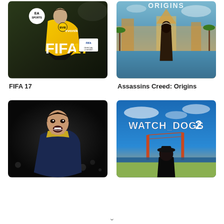[Figure (photo): FIFA 17 video game cover art showing EA Sports logo and a soccer player in yellow and black Borussia Dortmund jersey]
[Figure (photo): Assassins Creed Origins video game cover art showing a hooded figure with Egyptian pyramids and tropical scenery]
FIFA 17
Assassins Creed: Origins
[Figure (photo): A soccer player celebrating, mouth open, wearing a dark jersey, dark background]
[Figure (photo): Watch Dogs 2 video game cover art with blue sky, Golden Gate Bridge and a character in foreground]